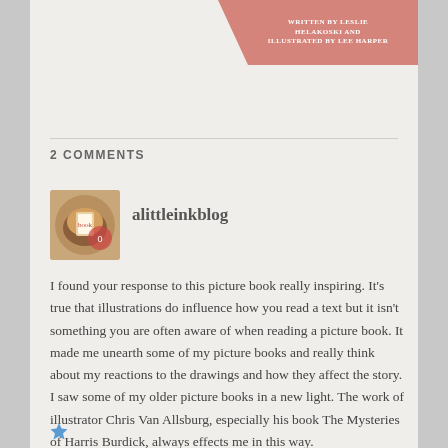[Figure (other): Salmon/coral colored banner with white text reading 'WRITTEN BY LESLIE HELAKOSKI AND ILLUSTRATED BY LEE HARPER' in the top right corner]
2 COMMENTS
[Figure (photo): Circular avatar image of a book with illustrated figures, shown in a rounded square frame]
alittleinkblog
I found your response to this picture book really inspiring. It's true that illustrations do influence how you read a text but it isn't something you are often aware of when reading a picture book. It made me unearth some of my picture books and really think about my reactions to the drawings and how they affect the story. I saw some of my older picture books in a new light. The work of illustrator Chris Van Allsburg, especially his book The Mysteries of Harris Burdick, always effects me in this way.